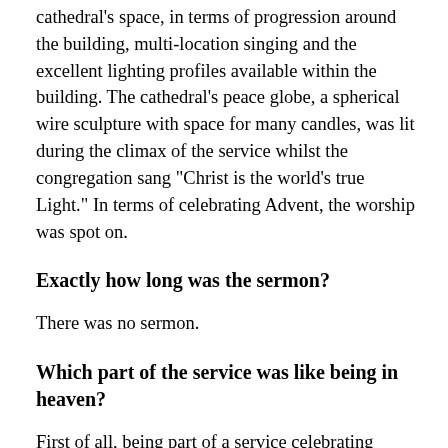cathedral's space, in terms of progression around the building, multi-location singing and the excellent lighting profiles available within the building. The cathedral's peace globe, a spherical wire sculpture with space for many candles, was lit during the climax of the service whilst the congregation sang "Christ is the world's true Light." In terms of celebrating Advent, the worship was spot on.
Exactly how long was the sermon?
There was no sermon.
Which part of the service was like being in heaven?
First of all, being part of a service celebrating Advent for its own value, rather than as an